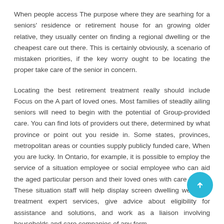When people access The purpose where they are searhing for a seniors' residence or retirement house for an growing older relative, they usually center on finding a regional dwelling or the cheapest care out there. This is certainly obviously, a scenario of mistaken priorities, if the key worry ought to be locating the proper take care of the senior in concern.
Locating the best retirement treatment really should include Focus on the A part of loved ones. Most families of steadily ailing seniors will need to begin with the potential of Group-provided care. You can find lots of providers out there, determined by what province or point out you reside in. Some states, provinces, metropolitan areas or counties supply publicly funded care, When you are lucky. In Ontario, for example, it is possible to employ the service of a situation employee or social employee who can aid the aged particular person and their loved ones with care issues. These situation staff will help display screen dwelling wellbeing treatment expert services, give advice about eligibility for assistance and solutions, and work as a liaison involving households and care companies of any form.
Authorities funded homecare and support companies can be